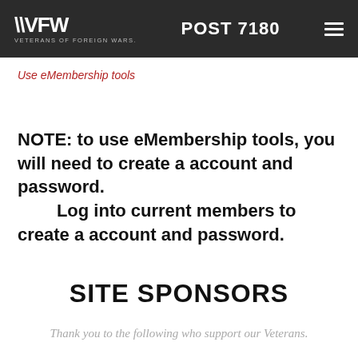VFW VETERANS OF FOREIGN WARS. POST 7180
Use eMembership tools
NOTE: to use eMembership tools, you will need to create a account and password. Log into current members to create a account and password.
SITE SPONSORS
Thank you to the following who support our Veterans.